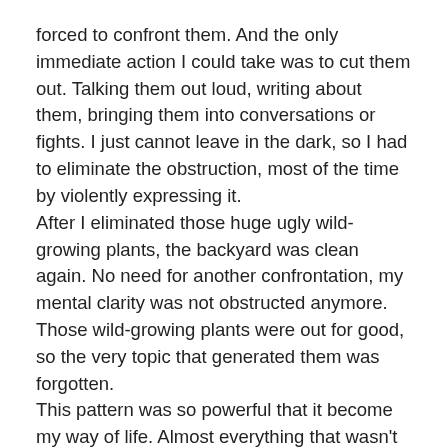forced to confront them. And the only immediate action I could take was to cut them out. Talking them out loud, writing about them, bringing them into conversations or fights. I just cannot leave in the dark, so I had to eliminate the obstruction, most of the time by violently expressing it.
After I eliminated those huge ugly wild-growing plants, the backyard was clean again. No need for another confrontation, my mental clarity was not obstructed anymore. Those wild-growing plants were out for good, so the very topic that generated them was forgotten.
This pattern was so powerful that it become my way of life. Almost everything that wasn't managed was staying somewhere back, waiting to reach an